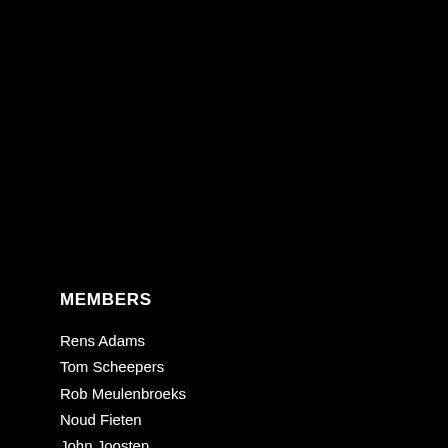MEMBERS
Rens Adams
Tom Scheepers
Rob Meulenbroeks
Noud Fieten
John Joosten
Kay Prinsen